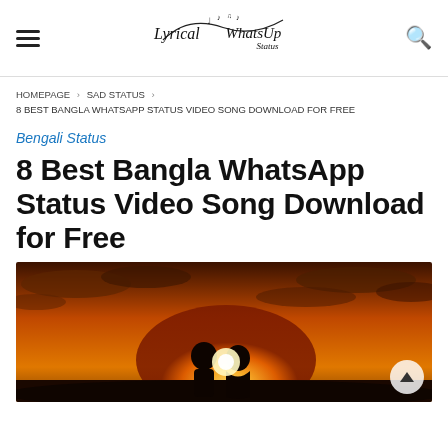Lyrical WhatsUp Status [logo]
HOMEPAGE › SAD STATUS › 8 BEST BANGLA WHATSAPP STATUS VIDEO SONG DOWNLOAD FOR FREE
Bengali Status
8 Best Bangla WhatsApp Status Video Song Download for Free
[Figure (photo): A silhouette of a couple facing each other against a warm orange sunset sky with dramatic clouds.]